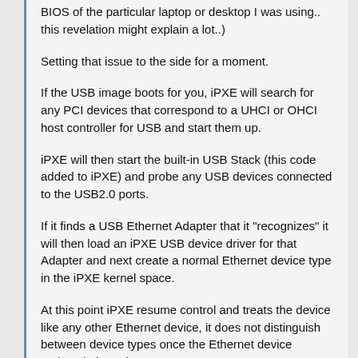BIOS of the particular laptop or desktop I was using.. this revelation might explain a lot..)
Setting that issue to the side for a moment.
If the USB image boots for you, iPXE will search for any PCI devices that correspond to a UHCI or OHCI host controller for USB and start them up.
iPXE will then start the built-in USB Stack (this code added to iPXE) and probe any USB devices connected to the USB2.0 ports.
If it finds a USB Ethernet Adapter that it "recognizes" it will then load an iPXE USB device driver for that Adapter and next create a normal Ethernet device type in the iPXE kernel space.
At this point iPXE resume control and treats the device like any other Ethernet device, it does not distinguish between device types once the Ethernet device "exists" in kernel space.
I have not tried UNDI support within iPXE.
About 14 years ago I was very interested in UNDI support for providing device drivers to operating installing Wind...